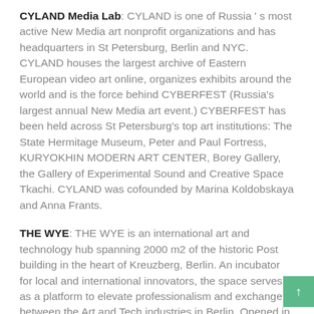CYLAND Media Lab: CYLAND is one of Russia's most active New Media art nonprofit organizations and has headquarters in St Petersburg, Berlin and NYC. CYLAND houses the largest archive of Eastern European video art online, organizes exhibits around the world and is the force behind CYBERFEST (Russia's largest annual New Media art event.) CYBERFEST has been held across St Petersburg's top art institutions: The State Hermitage Museum, Peter and Paul Fortress, KURYOKHIN MODERN ART CENTER, Borey Gallery, the Gallery of Experimental Sound and Creative Space Tkachi. CYLAND was cofounded by Marina Koldobskaya and Anna Frants.
THE WYE: THE WYE is an international art and technology hub spanning 2000 m2 of the historic Post building in the heart of Kreuzberg, Berlin. An incubator for local and international innovators, the space serves as a platform to elevate professionalism and exchange between the Art and Tech industries in Berlin. Opened in